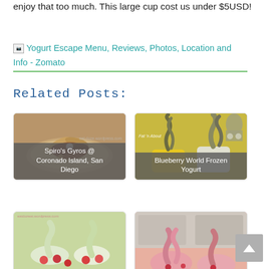enjoy that too much. This large cup cost us under $5USD!
[Figure (screenshot): Broken image placeholder followed by link text: 'Yogurt Escape Menu, Reviews, Photos, Location and Info - Zomato' in teal color with green underline]
Related Posts:
[Figure (photo): Card showing food image (gyros dish) with label 'Spiro's Gyros @ Coronado Island, San Diego']
[Figure (photo): Card showing frozen yogurt swirls with label 'Blueberry World Frozen Yogurt']
[Figure (photo): Card showing frozen yogurt with raspberries (partial, bottom row left)]
[Figure (photo): Card showing pink/strawberry frozen yogurt (partial, bottom row right)]